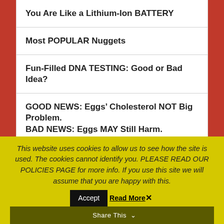You Are Like a Lithium-Ion BATTERY
Most POPULAR Nuggets
Fun-Filled DNA TESTING: Good or Bad Idea?
GOOD NEWS: Eggs’ Cholesterol NOT Big Problem. BAD NEWS: Eggs MAY Still Harm.
VEGGIES Elbowing MEATS OFF Your Plate
CANADA’S “MJ” MARKET BOOM IMMINENT…will YOU be a winner?
This website uses cookies to allow us to see how the site is used. The cookies cannot identify you. PLEASE READ OUR POLICIES PAGE for more info. If you use this site we will assume that you are happy with this.
Share This